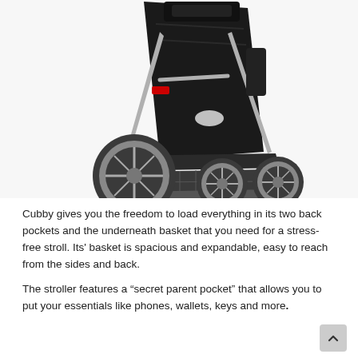[Figure (photo): Close-up photo of a black baby stroller (Cubby brand) showing the seat, silver/gray frame, underneath storage basket with mesh, and four wheels on a white background.]
Cubby gives you the freedom to load everything in its two back pockets and the underneath basket that you need for a stress-free stroll. Its' basket is spacious and expandable, easy to reach from the sides and back.
The stroller features a “secret parent pocket” that allows you to put your essentials like phones, wallets, keys and more.